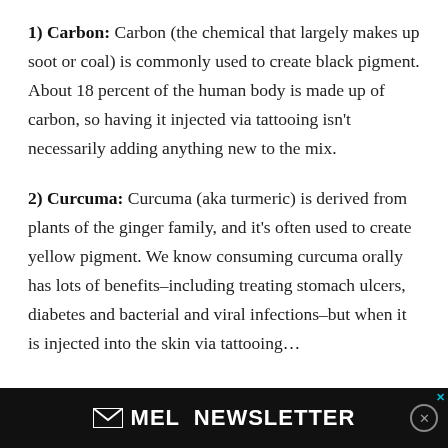1) Carbon: Carbon (the chemical that largely makes up soot or coal) is commonly used to create black pigment. About 18 percent of the human body is made up of carbon, so having it injected via tattooing isn't necessarily adding anything new to the mix.
2) Curcuma: Curcuma (aka turmeric) is derived from plants of the ginger family, and it's often used to create yellow pigment. We know consuming curcuma orally has lots of benefits–including treating stomach ulcers, diabetes and bacterial and viral infections–but when it is injected into the skin via tattooing...
[Figure (other): MEL Newsletter advertisement bar at bottom of page with envelope icon and newsletter text in white on black background, with X close button]